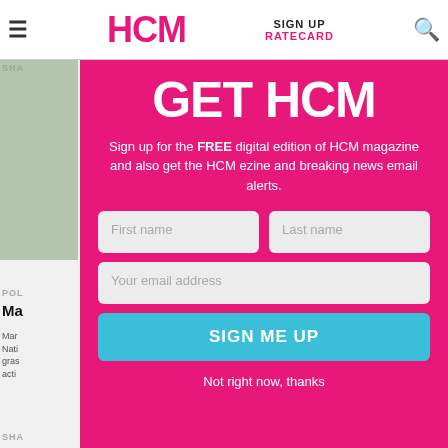HCM | SIGN UP | RATECARD
[Figure (screenshot): HCM magazine website screenshot with modal signup overlay on pink background]
GET HCM
Sign up for the FREE digital edition of HCM magazine and also get the HCM ezine and breaking news email alerts.
First name | Last name | Your email address | SIGN ME UP | Not right now, thanks